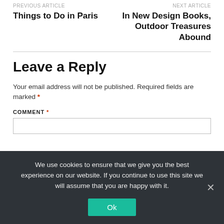PREVIOUS ARTICLE
Things to Do in Paris
NEXT ARTICLE
In New Design Books, Outdoor Treasures Abound
Leave a Reply
Your email address will not be published. Required fields are marked *
COMMENT *
We use cookies to ensure that we give you the best experience on our website. If you continue to use this site we will assume that you are happy with it.